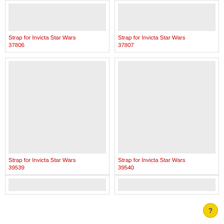[Figure (photo): Product image placeholder for Strap for Invicta Star Wars 37806]
Strap for Invicta Star Wars 37806
[Figure (photo): Product image placeholder for Strap for Invicta Star Wars 37807]
Strap for Invicta Star Wars 37807
[Figure (photo): Product image placeholder for Strap for Invicta Star Wars 39539]
Strap for Invicta Star Wars 39539
[Figure (photo): Product image placeholder for Strap for Invicta Star Wars 39540]
Strap for Invicta Star Wars 39540